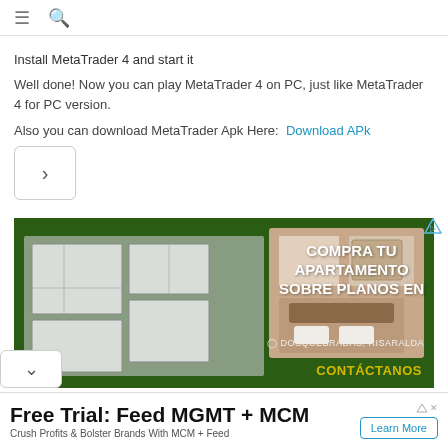≡  🔍
Install MetaTrader 4 and start it
Well done! Now you can play MetaTrader 4 on PC, just like MetaTrader 4 for PC version.
Also you can download MetaTrader Apk Here:  Download APk
[Figure (screenshot): Navigation arrow button pointing right, inside a bordered rounded rectangle.]
[Figure (photo): Advertisement image for an apartment complex: 'COMPRA TU APARTAMENTO SOBRE PLANOS EN — DOSQUEBRADAS, RISARALDA — CONTÁCTANOS', showing a floor plan view and a bedroom photo on dark green background.]
Free Trial: Feed MGMT + MCM
Crush Profits & Bolster Brands With MCM + Feed